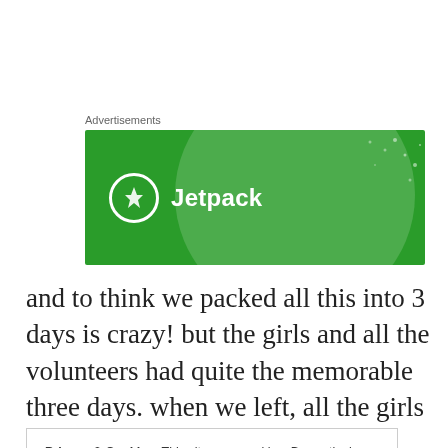Advertisements
[Figure (logo): Jetpack advertisement banner on green background with circular design elements and white Jetpack logo text]
and to think we packed all this into 3 days is crazy! but the girls and all the volunteers had quite the memorable three days. when we left, all the girls were writing down their
Privacy & Cookies: This site uses cookies. By continuing to use this website, you agree to their use.
To find out more, including how to control cookies, see here: Cookie Policy
Close and accept